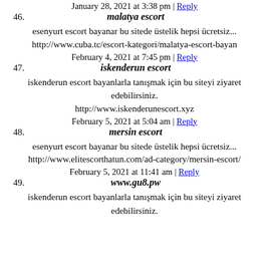January 28, 2021 at 3:38 pm | Reply
46. malatya escort
esenyurt escort bayanar bu sitede üstelik hepsi ücretsiz...
http://www.cuba.tc/escort-kategori/malatya-escort-bayan
February 4, 2021 at 7:45 pm | Reply
47. iskenderun escort
iskenderun escort bayanlarla tanışmak için bu siteyi ziyaret edebilirsiniz.
http://www.iskenderunescort.xyz
February 5, 2021 at 5:04 am | Reply
48. mersin escort
esenyurt escort bayanar bu sitede üstelik hepsi ücretsiz...
http://www.elitescorthatun.com/ad-category/mersin-escort/
February 5, 2021 at 11:41 am | Reply
49. www.gu8.pw
iskenderun escort bayanlarla tanışmak için bu siteyi ziyaret edebilirsiniz.